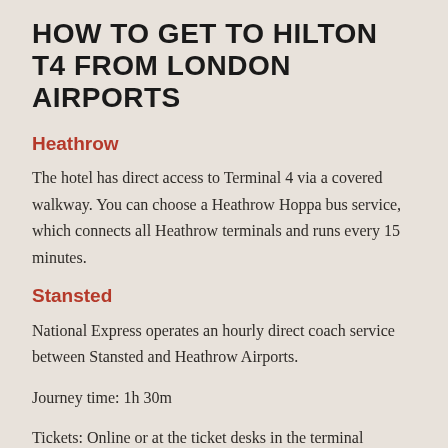HOW TO GET TO HILTON T4 FROM LONDON AIRPORTS
Heathrow
The hotel has direct access to Terminal 4 via a covered walkway. You can choose a Heathrow Hoppa bus service, which connects all Heathrow terminals and runs every 15 minutes.
Stansted
National Express operates an hourly direct coach service between Stansted and Heathrow Airports.
Journey time: 1h 30m
Tickets: Online or at the ticket desks in the terminal